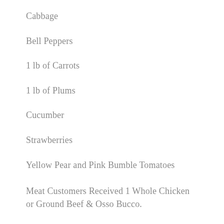Cabbage
Bell Peppers
1 lb of Carrots
1 lb of Plums
Cucumber
Strawberries
Yellow Pear and Pink Bumble Tomatoes
Meat Customers Received 1 Whole Chicken or Ground Beef & Osso Bucco.